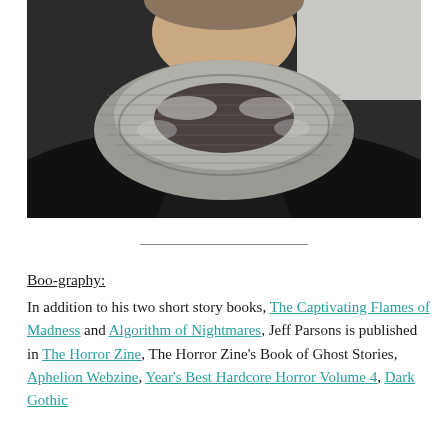[Figure (photo): Portrait photo of a person wearing a black top and a gray/white knit infinity scarf, photographed from roughly chest up against a light background.]
Boo-graphy:
In addition to his two short story books, The Captivating Flames of Madness and Algorithm of Nightmares, Jeff Parsons is published in The Horror Zine, The Horror Zine's Book of Ghost Stories, Aphelion Webzine, Year's Best Hardcore Horror Volume 4, Dark Gothic